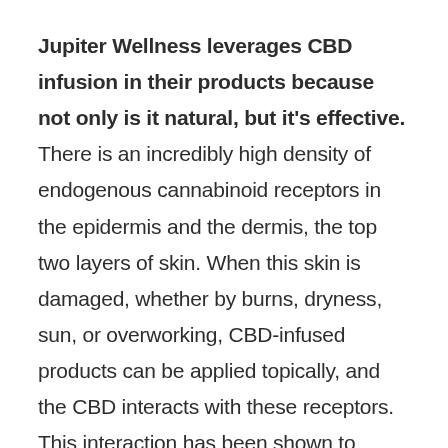Jupiter Wellness leverages CBD infusion in their products because not only is it natural, but it's effective. There is an incredibly high density of endogenous cannabinoid receptors in the epidermis and the dermis, the top two layers of skin. When this skin is damaged, whether by burns, dryness, sun, or overworking, CBD-infused products can be applied topically, and the CBD interacts with these receptors. This interaction has been shown to alleviate pain as well as reduce local tissue inflammation.